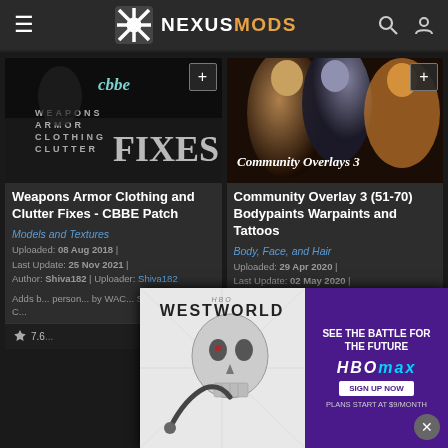NexusMods
[Figure (screenshot): Weapons Armor Clothing and Clutter Fixes - CBBE mod thumbnail showing cbbe logo and text WEAPONS ARMOR CLOTHING CLUTTER FIXES]
Weapons Armor Clothing and Clutter Fixes - CBBE Patch
Models and Textures
Uploaded: 08 Aug 2018 | Last Update: 25 Nov 2021 | Author: Shiva182 | Uploader: Shiva182
Adds b... person... by WAC... SE. Incl... CBBE C...
[Figure (screenshot): Community Overlays 3 mod thumbnail showing fantasy characters]
Community Overlay 3 (51-70) Bodypaints Warpaints and Tattoos
Body, Face, and Hair
Uploaded: 29 Apr 2020 | Last Update: 02 May 2020 | Author: Domain Wolf |
...le from ...he ...and ...any ...and
[Figure (photo): Westworld TV show advertisement overlay showing skull with HBO Max branding]
7.6...
SEE THE BATTLE FOR THE FUTURE HBO max SIGN UP NOW PLANS START AT $9/MONTH